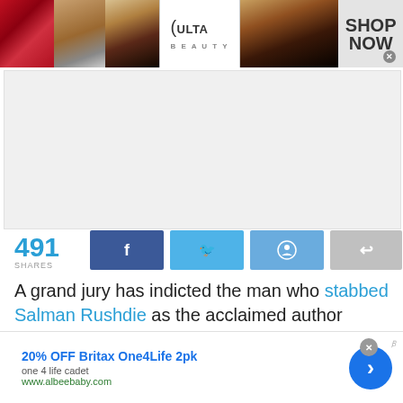[Figure (screenshot): Banner advertisement for Ulta Beauty showing makeup images (lips, brush, eye), Ulta Beauty logo, eye makeup photo, and 'SHOP NOW' call to action button]
[Figure (screenshot): Gray placeholder rectangle for a web advertisement]
491 SHARES
[Figure (screenshot): Social share buttons: Facebook (blue), Twitter (light blue), Reddit (blue), Share (gray)]
A grand jury has indicted the man who stabbed Salman Rushdie as the acclaimed author prepared to give a talk in western New York, county
[Figure (screenshot): Bottom advertisement for '20% OFF Britax One4Life 2pk' from one 4 life cadet, www.albeebaby.com with navigation arrow button]